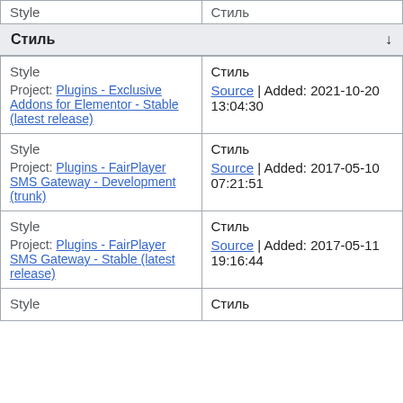Стиль
| (left column) | (right column) |
| --- | --- |
| Style

Project: Plugins - Exclusive Addons for Elementor - Stable (latest release) | Стиль

Source | Added: 2021-10-20 13:04:30 |
| Style

Project: Plugins - FairPlayer SMS Gateway - Development (trunk) | Стиль

Source | Added: 2017-05-10 07:21:51 |
| Style

Project: Plugins - FairPlayer SMS Gateway - Stable (latest release) | Стиль

Source | Added: 2017-05-11 19:16:44 |
| Style | Стиль |